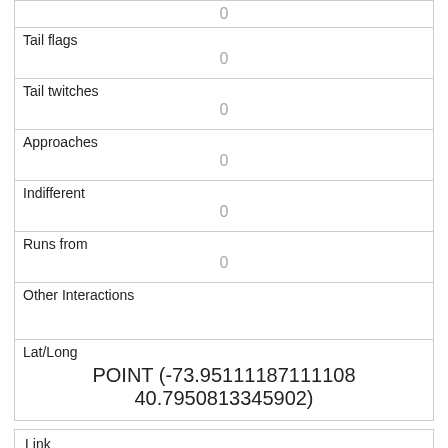|  | 0 |
| Tail flags | 0 |
| Tail twitches | 0 |
| Approaches | 0 |
| Indifferent | 0 |
| Runs from | 0 |
| Other Interactions |  |
| Lat/Long | POINT (-73.95111187111108 40.7950813345902) |
| Link | 142 |
| rowid | 142 |